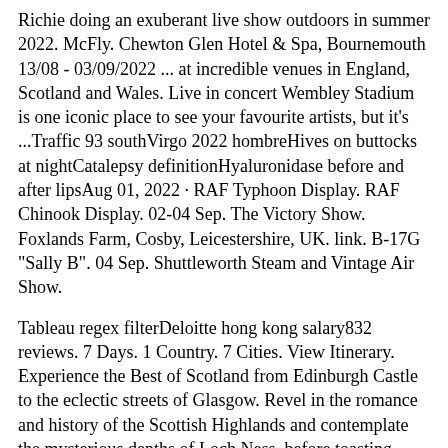Richie doing an exuberant live show outdoors in summer 2022. McFly. Chewton Glen Hotel & Spa, Bournemouth 13/08 - 03/09/2022 ... at incredible venues in England, Scotland and Wales. Live in concert Wembley Stadium is one iconic place to see your favourite artists, but it's ...Traffic 93 southVirgo 2022 hombreHives on buttocks at nightCatalepsy definitionHyaluronidase before and after lipsAug 01, 2022 · RAF Typhoon Display. RAF Chinook Display. 02-04 Sep. The Victory Show. Foxlands Farm, Cosby, Leicestershire, UK. link. B-17G "Sally B". 04 Sep. Shuttleworth Steam and Vintage Air Show.
Tableau regex filterDeloitte hong kong salary832 reviews. 7 Days. 1 Country. 7 Cities. View Itinerary. Experience the Best of Scotland from Edinburgh Castle to the eclectic streets of Glasgow. Revel in the romance and history of the Scottish Highlands and contemplate the mysterious depths of Loch Ness, before toasting bonnie Scotland's lochs, glens and legendary locals. Trip code.Iman gadzhi fatherAir Supply Music - The Official Home. It All Began in '75. Graham Russell and Russell Hitchcock met on May 12, 1975, on the first day of rehearsals for the Australian production of Jesus Christ Superstar in Sydney. They became instant friends who shared much in common, including their love of The Beatles whom they'd both seen in 1964 in ...Feb 03, 2022 · Wales Airshow, also called Swansea Air Show, is an annual two-day event that takes place over Swansea waterfront every summer.